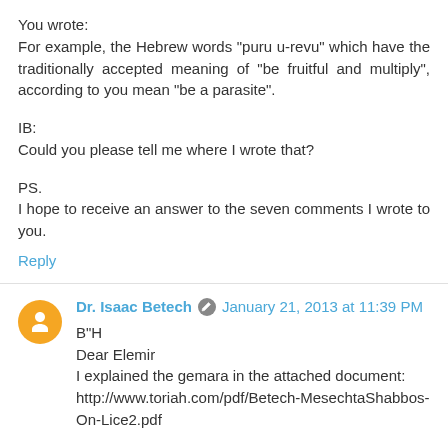You wrote:
For example, the Hebrew words "puru u-revu" which have the traditionally accepted meaning of "be fruitful and multiply", according to you mean "be a parasite".
IB:
Could you please tell me where I wrote that?
PS.
I hope to receive an answer to the seven comments I wrote to you.
Reply
Dr. Isaac Betech  January 21, 2013 at 11:39 PM
B"H
Dear Elemir
I explained the gemara in the attached document:
http://www.toriah.com/pdf/Betech-MesechtaShabbos-On-Lice2.pdf